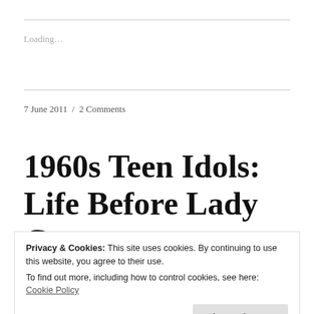Loading…
7 June 2011 / 2 Comments
1960s Teen Idols: Life Before Lady Gaga
Privacy & Cookies: This site uses cookies. By continuing to use this website, you agree to their use.
To find out more, including how to control cookies, see here: Cookie Policy
Close and accept
[Figure (photo): Black and white photo strip visible at the bottom of the page]